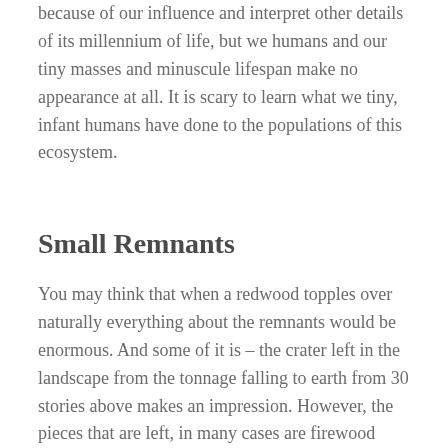because of our influence and interpret other details of its millennium of life, but we humans and our tiny masses and minuscule lifespan make no appearance at all. It is scary to learn what we tiny, infant humans have done to the populations of this ecosystem.
Small Remnants
You may think that when a redwood topples over naturally everything about the remnants would be enormous. And some of it is – the crater left in the landscape from the tonnage falling to earth from 30 stories above makes an impression. However, the pieces that are left, in many cases are firewood sized. This is because the tree is so massive when it hits the ground it shatters in a way the locals call ‘toothpicking’.
When these trees are harvested for that desirable